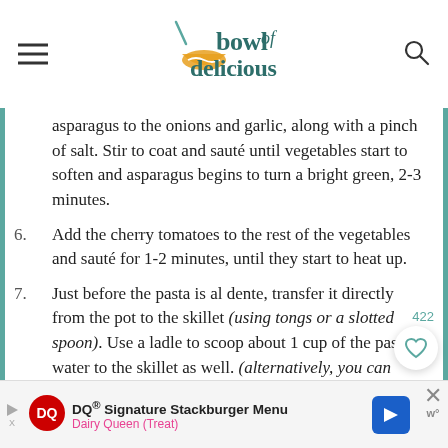bowl of delicious
asparagus to the onions and garlic, along with a pinch of salt. Stir to coat and sauté until vegetables start to soften and asparagus begins to turn a bright green, 2-3 minutes.
6. Add the cherry tomatoes to the rest of the vegetables and sauté for 1-2 minutes, until they start to heat up.
7. Just before the pasta is al dente, transfer it directly from the pot to the skillet (using tongs or a slotted spoon). Use a ladle to scoop about 1 cup of the pasta water to the skillet as well. (alternatively, you can